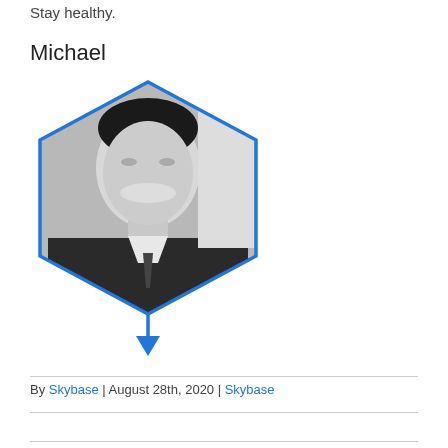Stay healthy.
Michael
[Figure (photo): Black and white professional headshot of a man in a suit and tie, framed inside a blue hexagon outline.]
By Skybase | August 28th, 2020 | Skybase